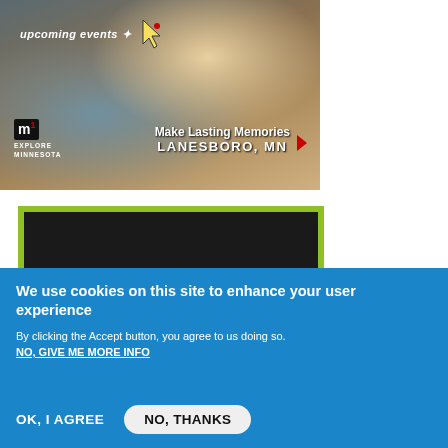[Figure (photo): Explore Minnesota tourism banner showing a child eating ice cream with text 'Make Lasting Memories LANESBORO, MN' and the Explore Minnesota logo, with 'upcoming events' text overlay]
[Figure (photo): Green-bordered dark panel with white italic serif text reading 'Of the many reasons to love Minnesota,']
We use cookies on this site to enhance your user experience
By clicking the Accept button, you agree to us doing so.
NO, GIVE ME MORE INFO
OK, I AGREE
NO, THANKS